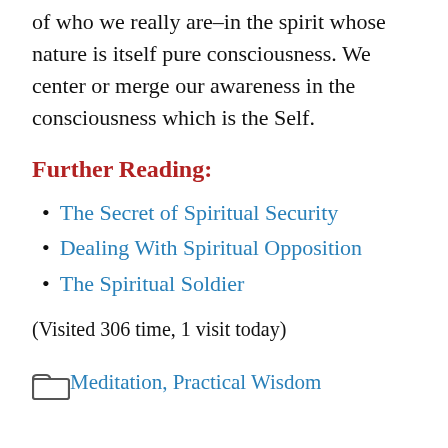of who we really are–in the spirit whose nature is itself pure consciousness. We center or merge our awareness in the consciousness which is the Self.
Further Reading:
The Secret of Spiritual Security
Dealing With Spiritual Opposition
The Spiritual Soldier
(Visited 306 time, 1 visit today)
Meditation, Practical Wisdom